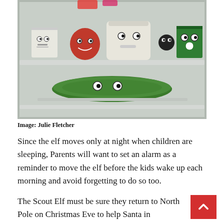[Figure (photo): A refrigerator interior showing food items with googly eyes affixed to them to look like faces. Top shelf has a box, a round red container, a large white jug, a black round item, and a green box — all with googly eyes. Bottom shelf has a large cucumber or zucchini with googly eyes.]
Image: Julie Fletcher
Since the elf moves only at night when children are sleeping, Parents will want to set an alarm as a reminder to move the elf before the kids wake up each morning and avoid forgetting to do so too.
The Scout Elf must be sure they return to North Pole on Christmas Eve to help Santa in